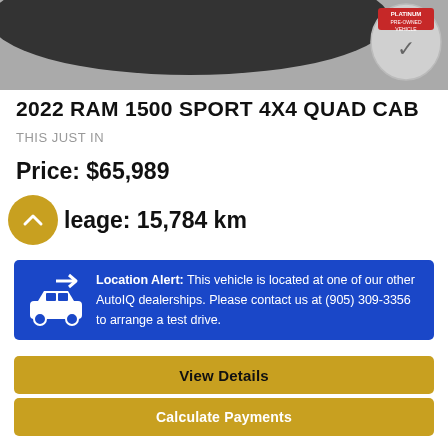[Figure (photo): Top portion of a dark truck/RAM vehicle, partially cropped, with a Platinum Pre-Owned Vehicle badge in the upper right corner]
2022 RAM 1500 SPORT 4X4 QUAD CAB
THIS JUST IN
Price: $65,989
Mileage: 15,784 km
Location Alert: This vehicle is located at one of our other AutoIQ dealerships. Please contact us at (905) 309-3356 to arrange a test drive.
View Details
Calculate Payments
Begin Purchase
[Figure (logo): CARFAX Canada logo with maple leaf]